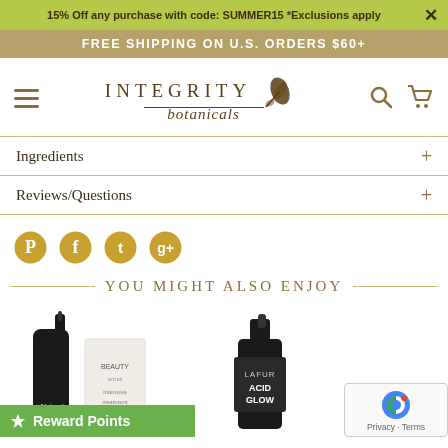15% Off any purchase with code: SUMMER15 *Exclusions apply
FREE SHIPPING ON U.S. ORDERS $60+
INTEGRITY botanicals
Ingredients
Reviews/Questions
[Figure (other): Social sharing icons: Pinterest, Facebook, Twitter, Google+]
YOU MIGHT ALSO ENJOY
[Figure (photo): Product photo: dark glass dropper bottle and white box packaging]
[Figure (photo): Product photo: pump bottle labeled LAFUR ACID GLOW]
Reward Points